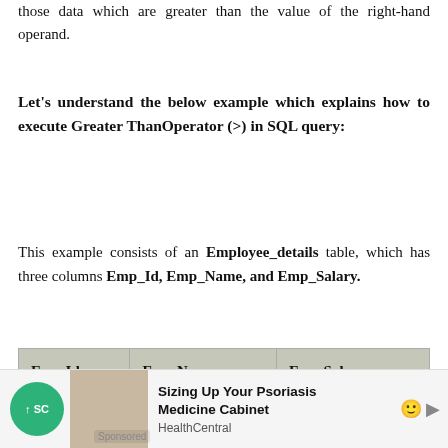those data which are greater than the value of the right-hand operand.
Let's understand the below example which explains how to execute Greater ThanOperator (>) in SQL query:
This example consists of an Employee_details table, which has three columns Emp_Id, Emp_Name, and Emp_Salary.
| Emp Id | Emp Name | Emp Salary |
| --- | --- | --- |
| 201 | Abhay | 45000 |
| 202 | Ankit | 45000 |
Sponsored ad: Sizing Up Your Psoriasis Medicine Cabinet - HealthCentral